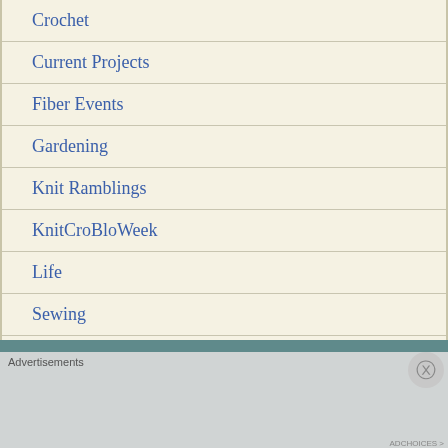Crochet
Current Projects
Fiber Events
Gardening
Knit Ramblings
KnitCroBloWeek
Life
Sewing
Spinning
Advertisements
[Figure (infographic): Pocket Casts advertisement: red banner with text 'An app by listeners, for listeners.' with phone image and Pocket Casts logo]